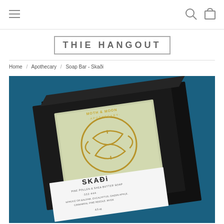[Figure (other): Navigation bar with hamburger menu icon on left, search and cart icons on right]
THE HANGOUT
Home / Apothecary / Soap Bar - Skaði
[Figure (photo): Product photo of Moth & Moon Apothecary Skaði soap bar in a black box on a teal/blue background. The box has a window showing a pale green soap with a golden Nordic knot design, and a white label reading SKAÐi with product details.]